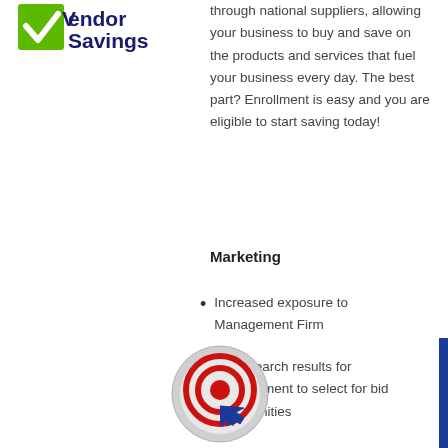[Figure (logo): Vendor Savings logo with green checkmark and dark blue text]
through national suppliers, allowing your business to buy and save on the products and services that fuel your business every day. The best part? Enrollment is easy and you are eligible to start saving today!
Marketing
Increased exposure to Management Firm
Easy search results for Management to select for bid opportunities
[Figure (illustration): Circular target/email icon with red concentric rings and blue cursor arrow]